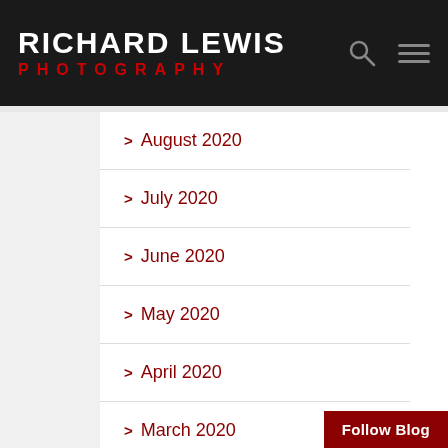RICHARD LEWIS PHOTOGRAPHY
> August 2020
> July 2020
> June 2020
> May 2020
> April 2020
> March 2020
> January 2020
Follow Blog